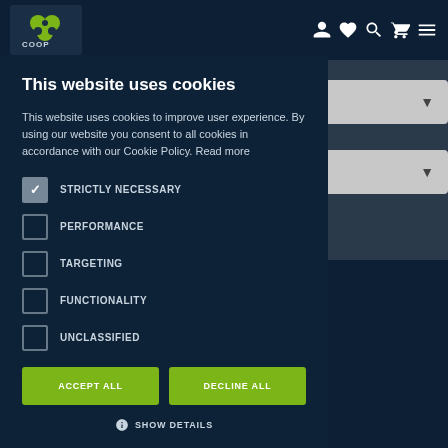[Figure (screenshot): Website navigation bar with logo (green circles on dark background, COOP branding) and icons for user, wishlist, search, cart, and menu]
This website uses cookies
This website uses cookies to improve user experience. By using our website you consent to all cookies in accordance with our Cookie Policy. Read more
STRICTLY NECESSARY (checked)
PERFORMANCE
TARGETING
FUNCTIONALITY
UNCLASSIFIED
ACCEPT ALL
DECLINE ALL
SHOW DETAILS
Quick Links